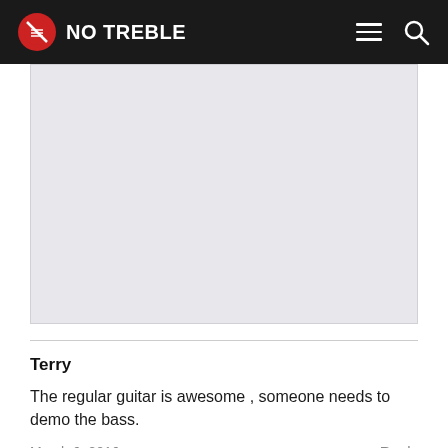NO TREBLE
[Figure (photo): Light gray rectangular image placeholder area]
Terry
The regular guitar is awesome , someone needs to demo the bass.
March 6, 2016   Reply